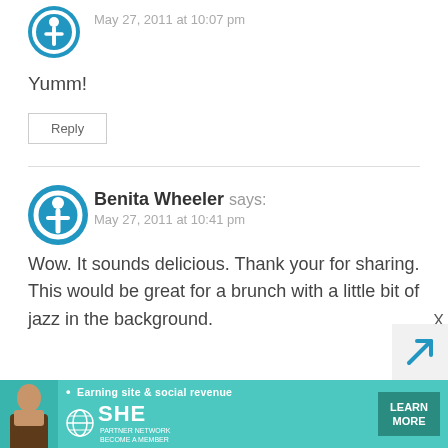May 27, 2011 at 10:07 pm
Yumm!
Reply
Benita Wheeler says: May 27, 2011 at 10:41 pm
Wow. It sounds delicious. Thank your for sharing. This would be great for a brunch with a little bit of jazz in the background.
[Figure (infographic): SHE Partner Network advertisement banner: Earning site & social revenue, LEARN MORE, BECOME A MEMBER]